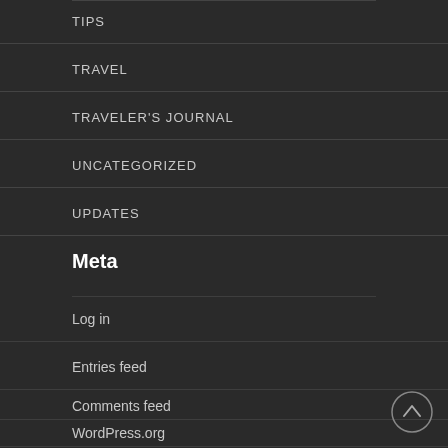TIPS
TRAVEL
TRAVELER'S JOURNAL
UNCATEGORIZED
UPDATES
Meta
Log in
Entries feed
Comments feed
WordPress.org